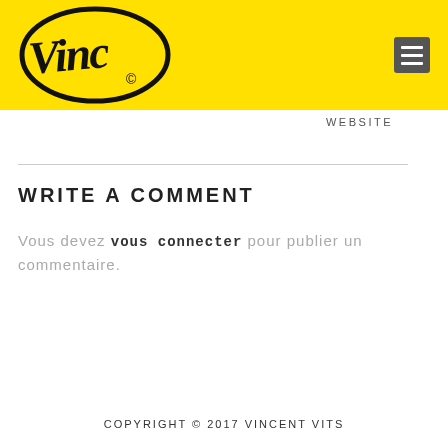[Figure (logo): Vinc logo in black script inside an oval, on yellow background, with copyright symbol]
WEBSITE
WRITE A COMMENT
Vous devez vous connecter pour publier un commentaire.
COPYRIGHT © 2017 VINCENT VITS